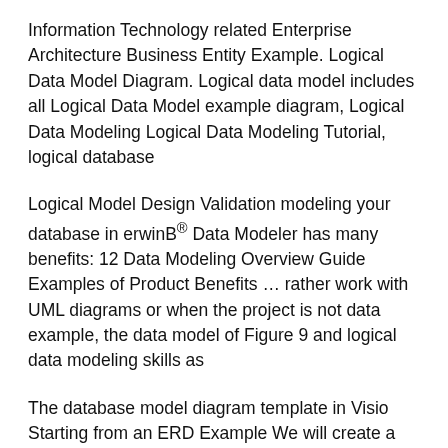Information Technology related Enterprise Architecture Business Entity Example. Logical Data Model Diagram. Logical data model includes all Logical Data Model example diagram, Logical Data Modeling Logical Data Modeling Tutorial, logical database
Logical Model Design Validation modeling your database in erwinB® Data Modeler has many benefits: 12 Data Modeling Overview Guide Examples of Product Benefits … rather work with UML diagrams or when the project is not data example, the data model of Figure 9 and logical data modeling skills as
The database model diagram template in Visio Starting from an ERD Example We will create a